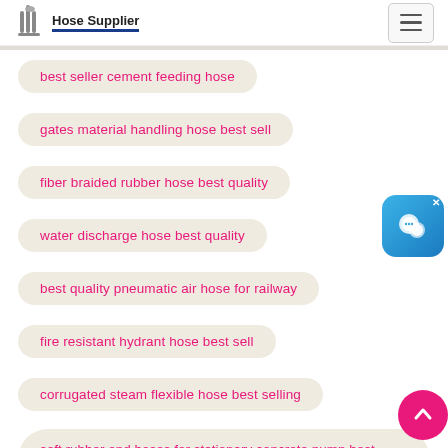Hose Supplier
best seller cement feeding hose
gates material handling hose best sell
fiber braided rubber hose best quality
water discharge hose best quality
best quality pneumatic air hose for railway
fire resistant hydrant hose best sell
corrugated steam flexible hose best selling
soft rubber end hoses for stationary concrete pump best quality
best price ss wire breaded steam hose pipe